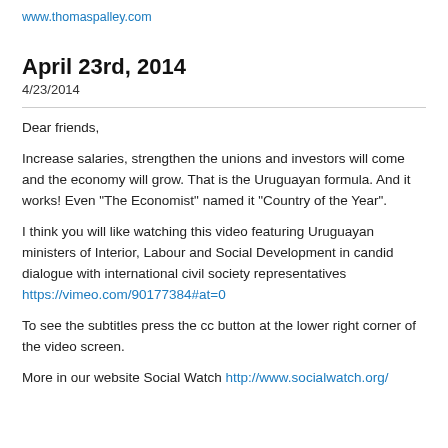www.thomaspalley.com
April 23rd, 2014
4/23/2014
Dear friends,
Increase salaries, strengthen the unions and investors will come and the economy will grow. That is the Uruguayan formula. And it works! Even "The Economist" named it "Country of the Year".
I think you will like watching this video featuring Uruguayan ministers of Interior, Labour and Social Development in candid dialogue with international civil society representatives
https://vimeo.com/90177384#at=0
To see the subtitles press the cc button at the lower right corner of the video screen.
More in our website Social Watch http://www.socialwatch.org/